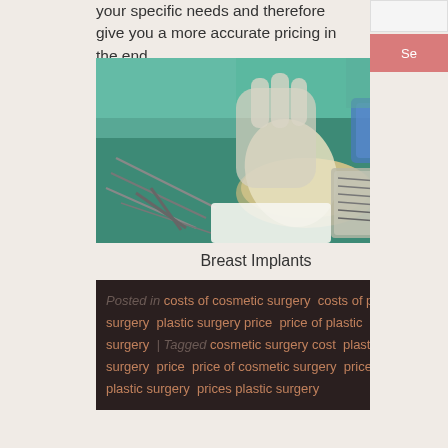your specific needs and therefore give you a more accurate pricing in the end.
[Figure (photo): Surgical scene showing a breast implant being handled by a gloved surgeon over a tray of surgical instruments on a teal/green surgical drape]
Breast Implants
Posted in costs of cosmetic surgery  costs of plastic surgery  plastic surgery price  price of plastic surgery | Tagged cosmetic surgery cost  plastic surgery  price  price of cosmetic surgery  price of plastic surgery  prices plastic surgery